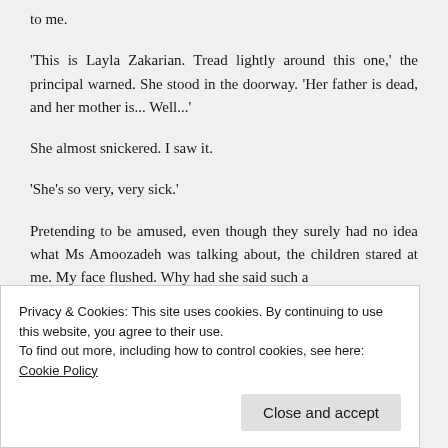to me.
'This is Layla Zakarian. Tread lightly around this one,' the principal warned. She stood in the doorway. 'Her father is dead, and her mother is... Well...'
She almost snickered. I saw it.
'She's so very, very sick.'
Pretending to be amused, even though they surely had no idea what Ms Amoozadeh was talking about, the children stared at me. My face flushed. Why had she said such a
Privacy & Cookies: This site uses cookies. By continuing to use this website, you agree to their use.
To find out more, including how to control cookies, see here: Cookie Policy
Close and accept